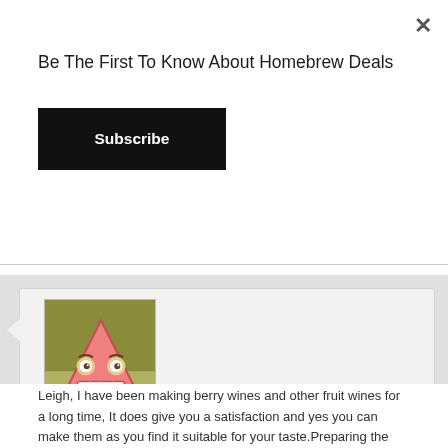Be The First To Know About Homebrew Deals
Subscribe
Knute on September 17, 2015 at 12:24 pm said: Leigh, I have been making berry wines and other fruit wines for a long time, It does give you a satisfaction and yes you can make them as you find it suitable for your taste.Preparing the fruit ahead is a good way to pave the way. Like my rhubarb, I
[Figure (illustration): Cartoon avatar of a pink triangular character with a wide grin, set against an olive/yellow-green background.]